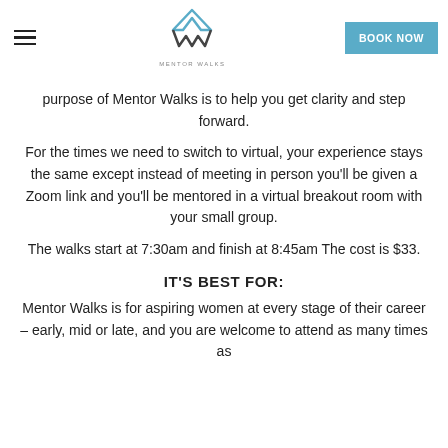Mentor Walks — BOOK NOW
purpose of Mentor Walks is to help you get clarity and step forward.
For the times we need to switch to virtual, your experience stays the same except instead of meeting in person you'll be given a Zoom link and you'll be mentored in a virtual breakout room with your small group.
The walks start at 7:30am and finish at 8:45am The cost is $33.
IT'S BEST FOR:
Mentor Walks is for aspiring women at every stage of their career – early, mid or late, and you are welcome to attend as many times as